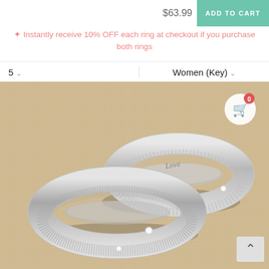$63.99
ADD TO CART
✦ Instantly receive 10% OFF each ring at checkout if you purchase both rings
5   ∨   Women (Key)   ∨
[Figure (photo): Two silver stainless steel couple rings/wedding bands with diamond accents on a burlap fabric background. The smaller ring in back has 'Love' engraved on it. Both rings have a textured exterior with small diamond/crystal inset stones.]